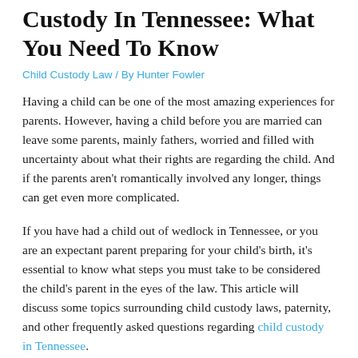Custody In Tennessee: What You Need To Know
Child Custody Law / By Hunter Fowler
Having a child can be one of the most amazing experiences for parents. However, having a child before you are married can leave some parents, mainly fathers, worried and filled with uncertainty about what their rights are regarding the child. And if the parents aren't romantically involved any longer, things can get even more complicated.
If you have had a child out of wedlock in Tennessee, or you are an expectant parent preparing for your child's birth, it's essential to know what steps you must take to be considered the child's parent in the eyes of the law. This article will discuss some topics surrounding child custody laws, paternity, and other frequently asked questions regarding child custody in Tennessee.